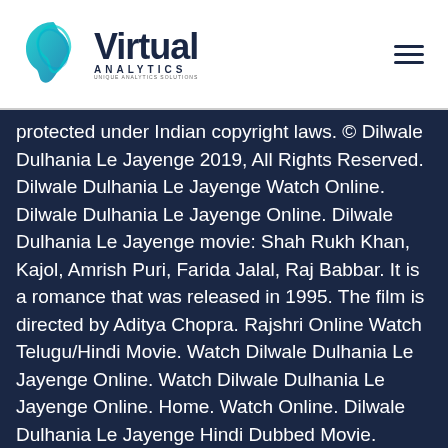Virtual Analytics
protected under Indian copyright laws. © Dilwale Dulhania Le Jayenge 2019, All Rights Reserved. Dilwale Dulhania Le Jayenge Watch Online. Dilwale Dulhania Le Jayenge Online. Dilwale Dulhania Le Jayenge movie: Shah Rukh Khan, Kajol, Amrish Puri, Farida Jalal, Raj Babbar. It is a romance that was released in 1995. The film is directed by Aditya Chopra. Rajshri Online Watch Telugu/Hindi Movie. Watch Dilwale Dulhania Le Jayenge Online. Watch Dilwale Dulhania Le Jayenge Online. Home. Watch Online. Dilwale Dulhania Le Jayenge Hindi Dubbed Movie. Dilwale Dulhania Le Jayenge Hindi Dubbed Movie. Watch Online. Dilwale